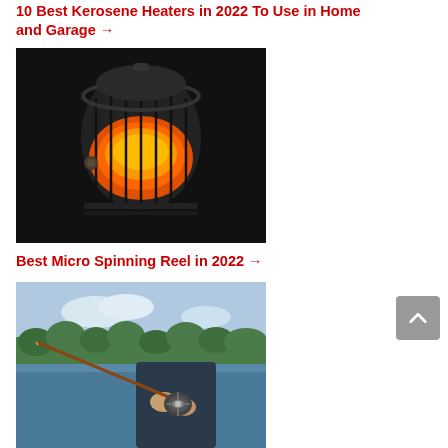10 Best Kerosene Heaters in 2022 To Use in Home and Garage →
[Figure (photo): Close-up photo of a kerosene heater glowing orange in a dark setting, with a metal cage guard around the heating element]
Best Micro Spinning Reel in 2022 →
[Figure (photo): Photo of a person holding a fishing rod with a micro spinning reel near a lake with trees in the background]